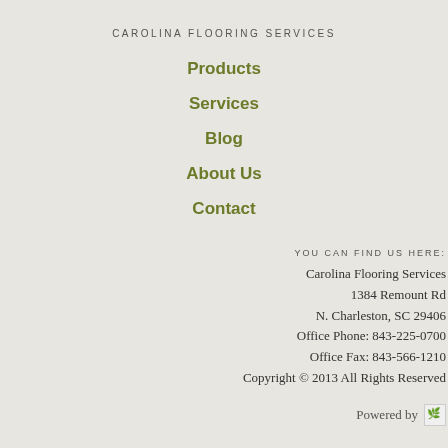CAROLINA FLOORING SERVICES
Products
Services
Blog
About Us
Contact
YOU CAN FIND US HERE:
Carolina Flooring Services
1384 Remount Rd
N. Charleston, SC 29406
Office Phone: 843-225-0700
Office Fax: 843-566-1210
Copyright © 2013 All Rights Reserved
Powered by